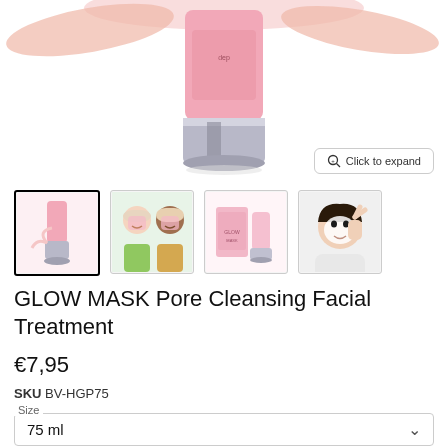[Figure (photo): Pink tube product (GLOW MASK Pore Cleansing Facial Treatment) with silver cap, shown on white background with cream texture visible]
[Figure (photo): Four product thumbnail images: 1) selected - product tube; 2) two smiling women with face masks; 3) product packaging box and tube; 4) woman with face mask doing peace sign]
GLOW MASK Pore Cleansing Facial Treatment
€7,95
SKU BV-HGP75
Size
75 ml